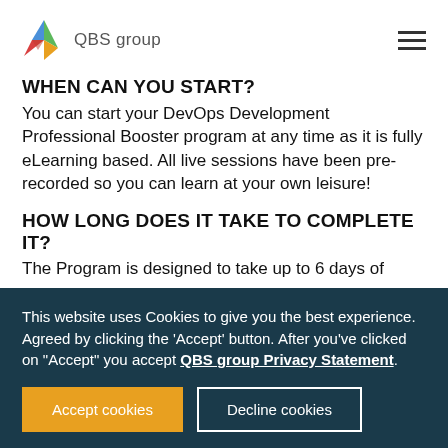QBS group
WHEN CAN YOU START?
You can start your DevOps Development Professional Booster program at any time as it is fully eLearning based. All live sessions have been pre-recorded so you can learn at your own leisure!
HOW LONG DOES IT TAKE TO COMPLETE IT?
The Program is designed to take up to 6 days of ...
This website uses Cookies to give you the best experience. Agreed by clicking the 'Accept' button. After you've clicked on "Accept" you accept QBS group Privacy Statement.